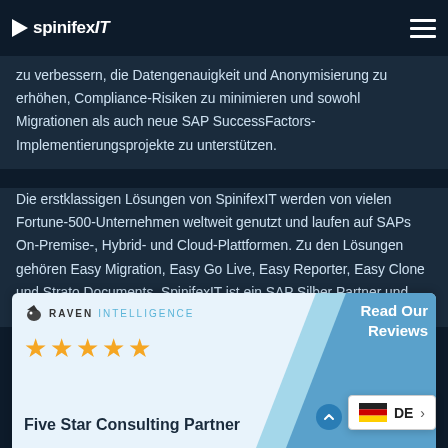spinifexIT
zu verbessern, die Datengenauigkeit und Anonymisierung zu erhöhen, Compliance-Risiken zu minimieren und sowohl Migrationen als auch neue SAP SuccessFactors-Implementierungsprojekte zu unterstützen.
Die erstklassigen Lösungen von SpinifexIT werden von vielen Fortune-500-Unternehmen weltweit genutzt und laufen auf SAPs On-Premise-, Hybrid- und Cloud-Plattformen. Zu den Lösungen gehören Easy Migration, Easy Go Live, Easy Reporter, Easy Clone und Strato Documents. SpinifexIT ist ein SAP Silber Partner und seine Lösungen sind im SAP Store erhältlich.
[Figure (other): Raven Intelligence banner showing five gold stars and 'Five Star Consulting Partner' text with 'Read Our Reviews' call-to-action button on a light blue background.]